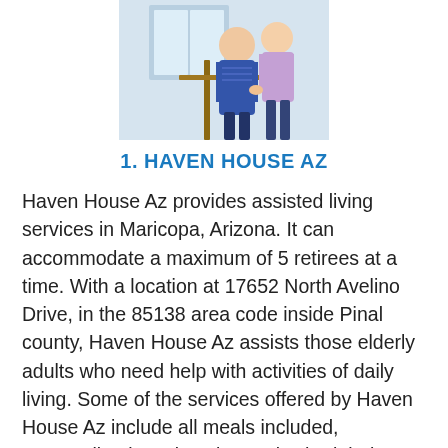[Figure (photo): Two women standing together on stairs, one elderly woman in a blue patterned top and one caregiver in a light purple uniform, assisting her.]
1. HAVEN HOUSE AZ
Haven House Az provides assisted living services in Maricopa, Arizona. It can accommodate a maximum of 5 retirees at a time. With a location at 17652 North Avelino Drive, in the 85138 area code inside Pinal county, Haven House Az assists those elderly adults who need help with activities of daily living. Some of the services offered by Haven House Az include all meals included, personalized service plan and scheduled bathroom reminders. Haven House Az has an active license by Arizona to provide assisted